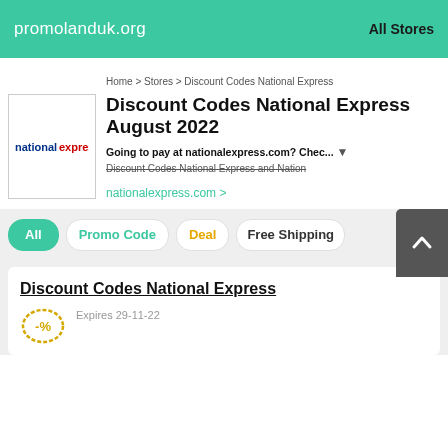promolanduk.org   All Stores
Home > Stores > Discount Codes National Express
Discount Codes National Express August 2022
Going to pay at nationalexpress.com? Chec... Discount Codes National Express and Nation
nationalexpress.com >
All
Promo Code
Deal
Free Shipping
Discount Codes National Express
Expires 29-11-22